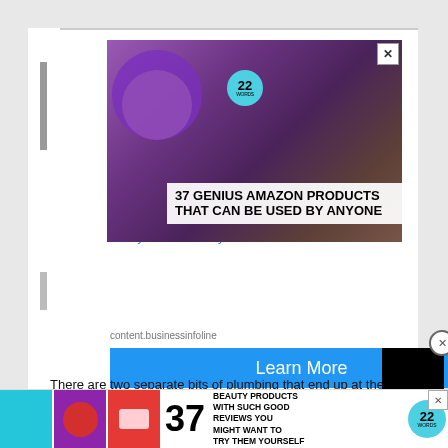[Figure (screenshot): Screenshot of a webpage with multiple overlapping advertisement overlays. Top ad shows purple Beats headphones with text '37 GENIUS AMAZON PRODUCTS THAT CAN BE USED BY ANYONE' and a '22 Words' badge. Background page shows truncated text about Kidney Disease & Dialysis. Middle section shows a 'content.businessinfoline' ad with a blue 'Learn More' button and a black video overlay with a close (X) button. A '5 W' section header is partially visible. Body text reads 'Otherwise, the plumbing is not c...' and 'pee when releasing kidney stone...' and 'There are two separate bits of plumbing that end up at the penis: the kidneys connect to the bladder to pas..., while the tes...ids that m...'. A 'CLOSE' button overlaps. Bottom banner ad shows '37 BEAUTY PRODUCTS WITH SUCH GOOD REVIEWS YOU MIGHT WANT TO TRY THEM YOURSELF' with a 22 Words badge and an X button.]